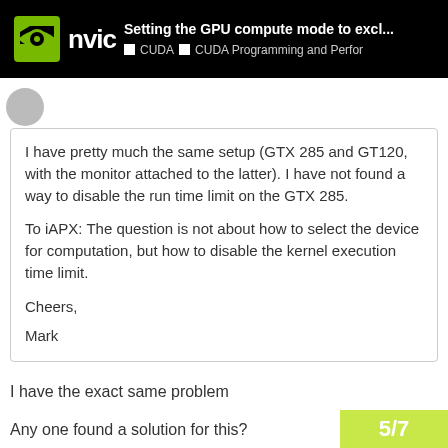Setting the GPU compute mode to excl... | CUDA | CUDA Programming and Perfor
I have pretty much the same setup (GTX 285 and GT120, with the monitor attached to the latter). I have not found a way to disable the run time limit on the GTX 285.

To iAPX: The question is not about how to select the device for computation, but how to disable the kernel execution time limit.

Cheers,

Mark
I have the exact same problem
Any one found a solution for this?
Thanks